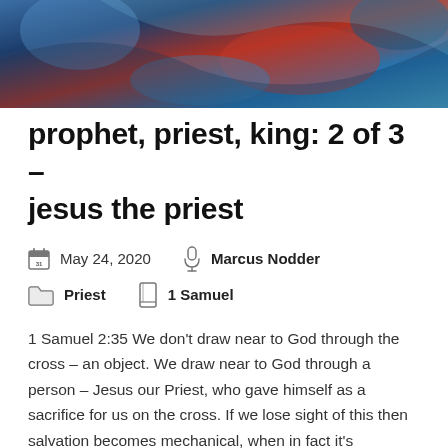[Figure (photo): Colorful abstract/artistic hero image with blue, red, and teal tones at the top of the page]
prophet, priest, king: 2 of 3 – jesus the priest
May 24, 2020   Marcus Nodder
Priest   1 Samuel
1 Samuel 2:35 We don't draw near to God through the cross – an object. We draw near to God through a person – Jesus our Priest, who gave himself as a sacrifice for us on the cross. If we lose sight of this then salvation becomes mechanical, when in fact it's personal. But the theologian, John Owen, wrote, 'There is no office of Christ that Satan labours so hard